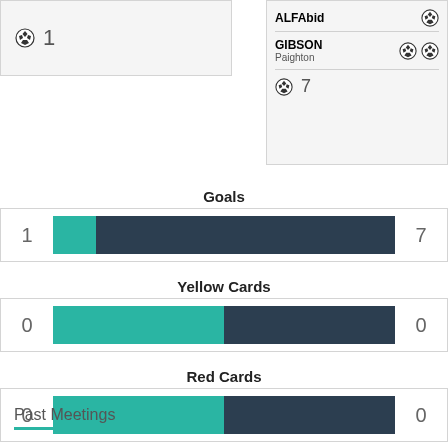| ⚽ 1 |
| ALFAbid | ⚽ |
| GIBSON Paighton | ⚽ ⚽ |
| ⚽ 7 |  |
Goals
[Figure (bar-chart): Goals]
Yellow Cards
[Figure (bar-chart): Yellow Cards]
Red Cards
[Figure (bar-chart): Red Cards]
Past Meetings